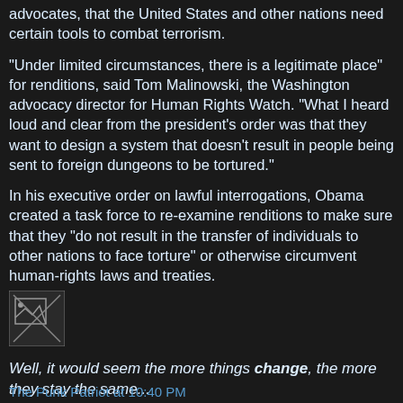advocates, that the United States and other nations need certain tools to combat terrorism.
"Under limited circumstances, there is a legitimate place" for renditions, said Tom Malinowski, the Washington advocacy director for Human Rights Watch. "What I heard loud and clear from the president's order was that they want to design a system that doesn't result in people being sent to foreign dungeons to be tortured."
In his executive order on lawful interrogations, Obama created a task force to re-examine renditions to make sure that they "do not result in the transfer of individuals to other nations to face torture" or otherwise circumvent human-rights laws and treaties.
[Figure (other): Broken image placeholder icon]
Well, it would seem the more things change, the more they stay the same...
The Punk Patriot at 10:40 PM